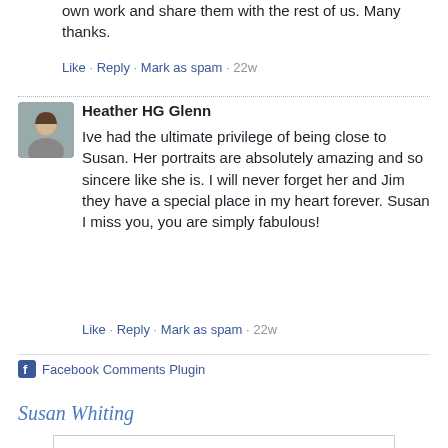own work and share them with the rest of us. Many thanks.
Like · Reply · Mark as spam · 22w
Heather HG Glenn
Ive had the ultimate privilege of being close to Susan. Her portraits are absolutely amazing and so sincere like she is. I will never forget her and Jim they have a special place in my heart forever. Susan I miss you, you are simply fabulous!
Like · Reply · Mark as spam · 22w
Facebook Comments Plugin
Susan Whiting